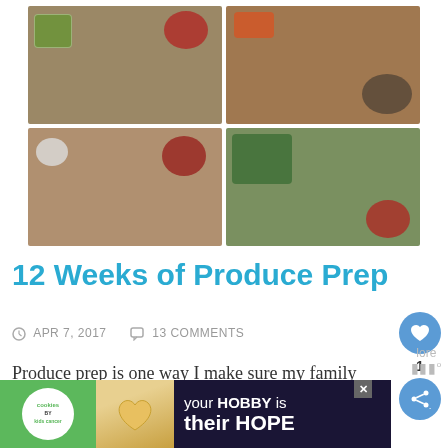[Figure (photo): 2x2 grid of food preparation photos showing meal-prepped fruits and vegetables in containers on a counter top]
12 Weeks of Produce Prep
APR 7, 2017   13 COMMENTS
Produce prep is one way I make sure my family eats a variety of fruits and vegetables each
[Figure (infographic): Advertisement banner for cookies by kids cancer: 'your HOBBY is their HOPE' with green logo section and dark background]